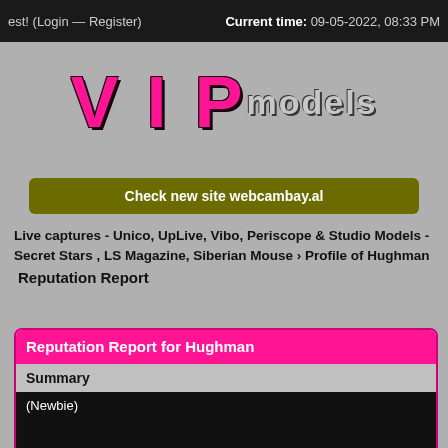est! (Login — Register)    Current time: 09-05-2022, 08:33 PM
[Figure (logo): VIPmodels logo in large pink stylized font on gray background]
Check new site webcambay.al
Live captures - Unico, UpLive, Vibo, Periscope & Studio Models - Secret Stars , LS Magazine, Siberian Mouse › Profile of Hughman
Reputation Report
|  | Last week/month | Positives | Neutrals | Negatives |
| --- | --- | --- | --- | --- |
| (Newbie) |  |  |  |  |
| Total Reputation: 0 | Last week | 0 | 0 | 0 |
|  | Last month | 0 | 0 | 0 |